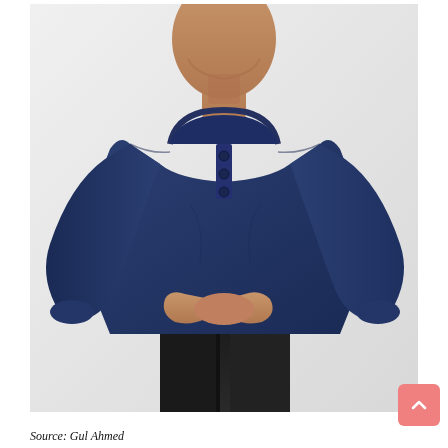[Figure (photo): A male model wearing a navy blue long-sleeve Henley t-shirt with 3-button placket at the neckline, paired with black trousers. The model is shown from chin to mid-thigh against a light grey/white background, with hands clasped in front at waist level.]
Source: Gul Ahmed